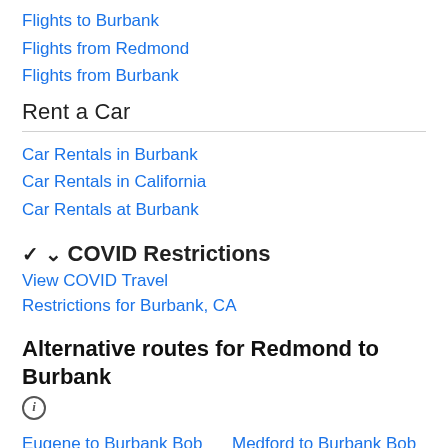Flights to Burbank
Flights from Redmond
Flights from Burbank
Rent a Car
Car Rentals in Burbank
Car Rentals in California
Car Rentals at Burbank
COVID Restrictions
View COVID Travel Restrictions for Burbank, CA
Alternative routes for Redmond to Burbank
Eugene to Burbank Bob Hope
from $103 pp
Medford to Burbank Bob Hope
from $103 pp